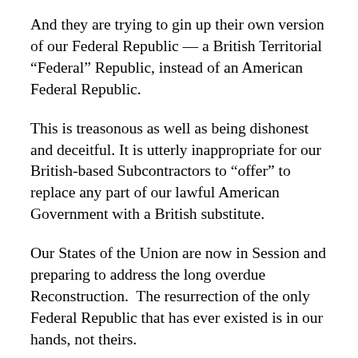And they are trying to gin up their own version of our Federal Republic — a British Territorial “Federal” Republic, instead of an American Federal Republic.
This is treasonous as well as being dishonest and deceitful. It is utterly inappropriate for our British-based Subcontractors to “offer” to replace any part of our lawful American Government with a British substitute.
Our States of the Union are now in Session and preparing to address the long overdue Reconstruction.  The resurrection of the only Federal Republic that has ever existed is in our hands, not theirs.
The entire so-called Operation Phoenix is a confidence racket scheme against the interests of